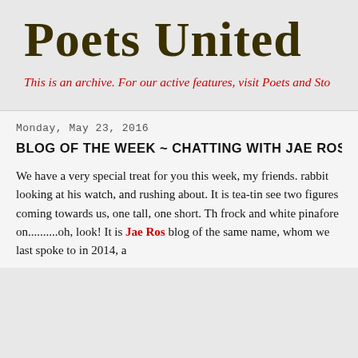Poets United
This is an archive. For our active features, visit Poets and Sto
Monday, May 23, 2016
BLOG OF THE WEEK ~ CHATTING WITH JAE ROSE AND A
We have a very special treat for you this week, my friends... rabbit looking at his watch, and rushing about. It is tea-tin... see two figures coming towards us, one tall, one short. Th... frock and white pinafore on..........oh, look! It is Jae Rose... blog of the same name, whom we last spoke to in 2014, a...